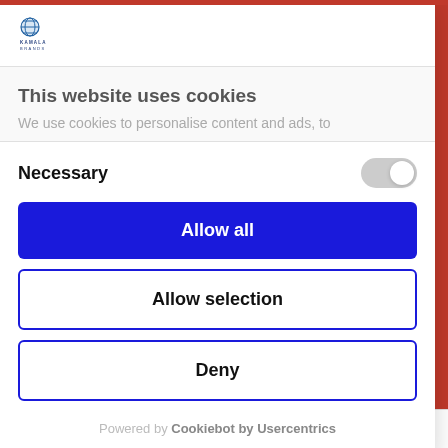[Figure (logo): Kamala Brands logo with blue globe icon and text]
This website uses cookies
We use cookies to personalise content and ads, to
Necessary
Allow all
Allow selection
Deny
Powered by Cookiebot by Usercentrics